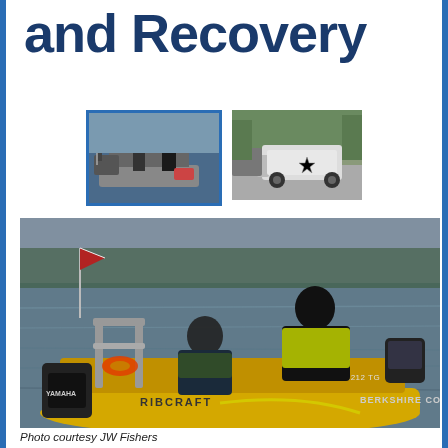and Recovery
[Figure (photo): Two small photos side by side: left shows rescue personnel on a boat doing water operations; right shows a trailer/vehicle with a star emblem.]
[Figure (photo): Large photo of two men in safety vests on a yellow Berkshire County Sheriff Ribcraft inflatable boat on water, with YAMAHA outboard motor visible. Registration MS 1212 TG visible on boat side.]
Photo courtesy JW Fishers
According to the CDC, 3,960 fatal unintentional